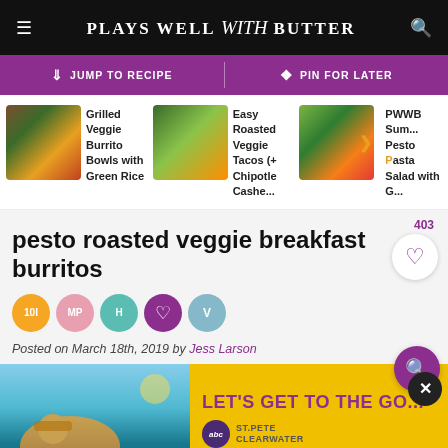PLAYS WELL with BUTTER
↓ JUMP TO RECIPE | ♡ PIN FOR LATER
[Figure (photo): Thumbnail of Grilled Veggie Burrito Bowls with Green Rice]
Grilled Veggie Burrito Bowls with Green Rice
[Figure (photo): Thumbnail of Easy Roasted Veggie Tacos (+ Chipotle Cashe...)]
Easy Roasted Veggie Tacos (+ Chipotle Cashe...
[Figure (photo): Thumbnail of PWWB Summer Pesto Pasta Salad with G...]
PWWB Sum... Pesto Pasta Salad with G...
pesto roasted veggie breakfast burritos
10I MP H ♥ V
Posted on March 18th, 2019 by Jess Larson
[Figure (photo): Advertisement banner for St. Pete Clearwater: LET'S GET TO THE GO... with photo of person by water]